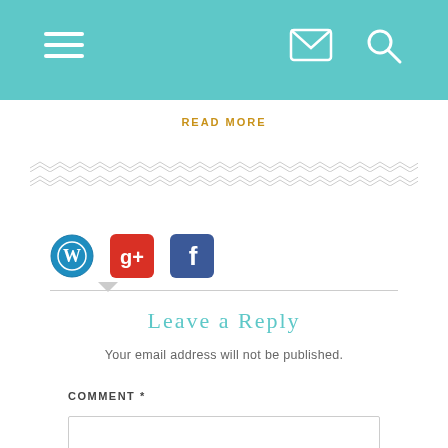Navigation bar with hamburger menu, mail icon, and search icon
READ MORE
[Figure (illustration): Decorative zigzag/chevron pattern divider line in light gray]
[Figure (illustration): Social login icons: WordPress (blue circle W), Google+ (red/white g+ square), Facebook (blue f square)]
Leave a Reply
Your email address will not be published.
COMMENT *